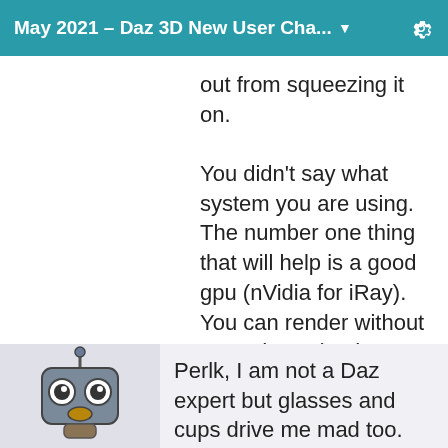May 2021 – Daz 3D New User Cha... ▼
out from squeezing it on.

You didn't say what system you are using. The number one thing that will help is a good gpu (nVidia for iRay). You can render without a good gpu (and people do!) but it is going to be slow and painful and you will be more limited in what you can do.
[Figure (illustration): Robot avatar icon with square head, large eyes, and a beak-like mouth on a light gray background]
Perlk, I am not a Daz expert but glasses and cups drive me mad too.

One thing I find that helps is to